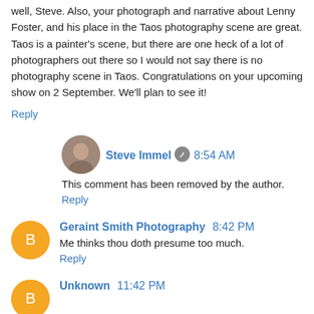well, Steve. Also, your photograph and narrative about Lenny Foster, and his place in the Taos photography scene are great. Taos is a painter's scene, but there are one heck of a lot of photographers out there so I would not say there is no photography scene in Taos. Congratulations on your upcoming show on 2 September. We'll plan to see it!
Reply
Steve Immel 8:54 AM
This comment has been removed by the author.
Reply
Geraint Smith Photography 8:42 PM
Me thinks thou doth presume too much.
Reply
Unknown 11:42 PM